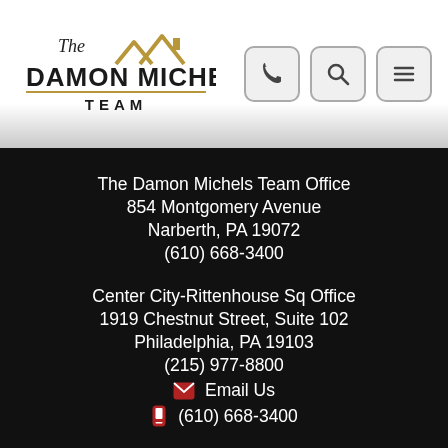[Figure (logo): The Damon Michels Team logo with stylized roof/house icon in gold and black text]
[Figure (other): Three navigation icon buttons: phone, search, and menu (hamburger)]
The Damon Michels Team Office
854 Montgomery Avenue
Narberth, PA 19072
(610) 668-3400
Center City-Rittenhouse Sq Office
1919 Chestnut Street, Suite 102
Philadelphia, PA 19103
(215) 977-8800
Email Us
(610) 668-3400